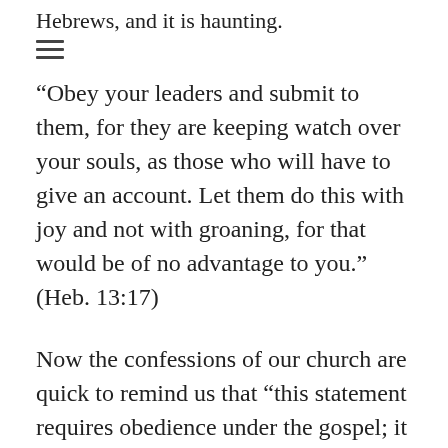Hebrews, and it is haunting.
[Figure (other): Hamburger menu icon (three horizontal lines)]
“Obey your leaders and submit to them, for they are keeping watch over your souls, as those who will have to give an account. Let them do this with joy and not with groaning, for that would be of no advantage to you.” (Heb. 13:17)
Now the confessions of our church are quick to remind us that “this statement requires obedience under the gospel; it does not create an authority for bishops apart from the gospel.” This isn’t about giving absolute